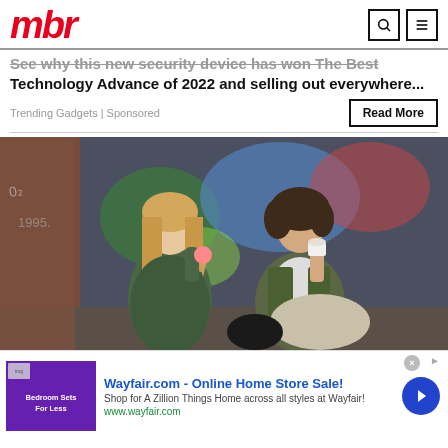mbr
See why this new security device has won The Best Technology Advance of 2022 and selling out everywhere...
Trending Gadgets | Sponsored
Read More
[Figure (photo): Two young women sitting against a graffiti-covered brick wall, eating ice cream, wearing olive/camo jackets]
Wayfair.com - Online Home Store Sale! Shop for A Zillion Things Home across all styles at Wayfair! www.wayfair.com